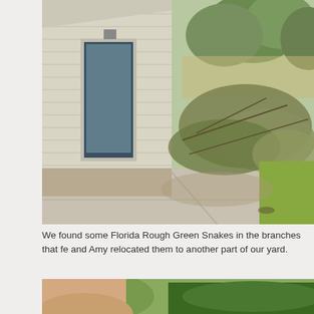[Figure (photo): Exterior of a house with light beige/cream siding, a side door with a glass panel, and a concrete patio. Fallen tree branches and debris are piled against the right side of the house and yard. Trees are visible in the background.]
We found some Florida Rough Green Snakes in the branches that fe and Amy relocated them to another part of our yard.
[Figure (photo): Close-up photo showing a hand holding a Florida Rough Green Snake, with a blurred green background.]